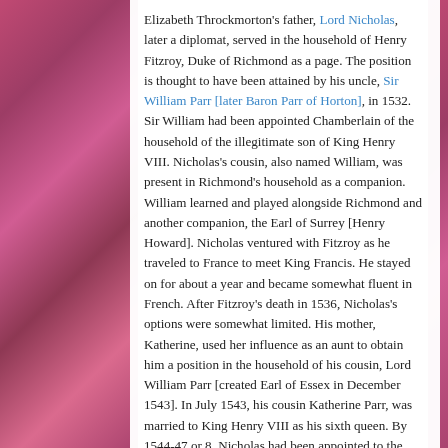Elizabeth Throckmorton's father, Lord Nicholas, later a diplomat, served in the household of Henry Fitzroy, Duke of Richmond as a page. The position is thought to have been attained by his uncle, Sir William Parr [later Baron Parr of Horton], in 1532. Sir William had been appointed Chamberlain of the household of the illegitimate son of King Henry VIII. Nicholas's cousin, also named William, was present in Richmond's household as a companion. William learned and played alongside Richmond and another companion, the Earl of Surrey [Henry Howard]. Nicholas ventured with Fitzroy as he traveled to France to meet King Francis. He stayed on for about a year and became somewhat fluent in French. After Fitzroy's death in 1536, Nicholas's options were somewhat limited. His mother, Katherine, used her influence as an aunt to obtain him a position in the household of his cousin, Lord William Parr [created Earl of Essex in December 1543]. In July 1543, his cousin Katherine Parr, was married to King Henry VIII as his sixth queen. By 1544-47 or 8, Nicholas had been appointed to the Queen's household as a sewer. Nicholas would go on to serve under the rest of the Tudor